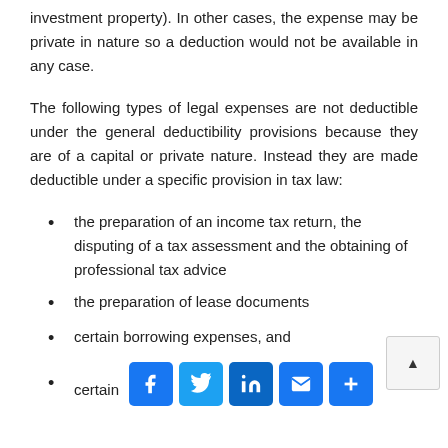investment property). In other cases, the expense may be private in nature so a deduction would not be available in any case.
The following types of legal expenses are not deductible under the general deductibility provisions because they are of a capital or private nature. Instead they are made deductible under a specific provision in tax law:
the preparation of an income tax return, the disputing of a tax assessment and the obtaining of professional tax advice
the preparation of lease documents
certain borrowing expenses, and
certain